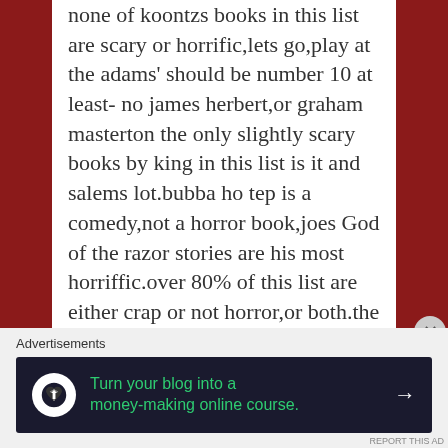none of koontzs books in this list are scary or horrific,lets go,play at the adams' should be number 10 at least- no james herbert,or graham masterton the only slightly scary books by king in this list is it and salems lot.bubba ho tep is a comedy,not a horror book,joes God of the razor stories are his most horriffic.over 80% of this list are either crap or not horror,or both.the Keep is one of the greatest novels of all time and should be way higher,top 5 at least
Liked by 1 person
Advertisements
[Figure (infographic): Advertisement banner: dark background with circular logo (tree icon), green text 'Turn your blog into a money-making online course.' with white arrow]